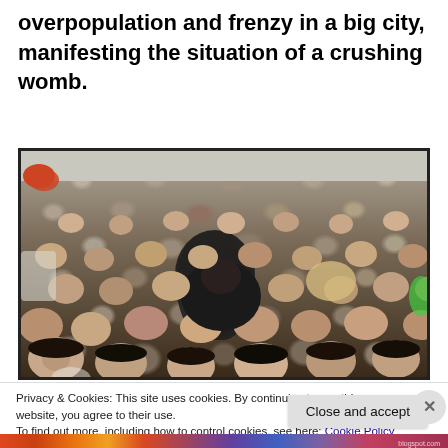overpopulation and frenzy in a big city, manifesting the situation of a crushing womb.
[Figure (photo): A dense crowd of people packed tightly together, mostly appearing to be of East Asian descent, viewed from slightly above. The crowd fills the entire frame showing overpopulation/overcrowding in a big city.]
Privacy & Cookies: This site uses cookies. By continuing to use this website, you agree to their use.
To find out more, including how to control cookies, see here: Cookie Policy
Close and accept